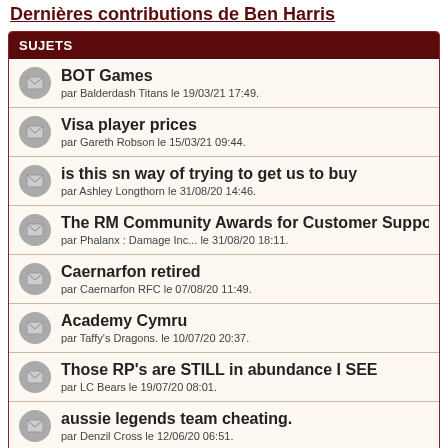Dernières contributions de Ben Harris
SUJETS
BOT Games
par Balderdash Titans le 19/03/21 17:49.
Visa player prices
par Gareth Robson le 15/03/21 09:44.
is this sn way of trying to get us to buy
par Ashley Longthorn le 31/08/20 14:46.
The RM Community Awards for Customer Support Wh
par Phalanx : Damage Inc... le 31/08/20 18:11.
Caernarfon retired
par Caernarfon RFC le 07/08/20 11:49.
Academy Cymru
par Taffy's Dragons. le 10/07/20 20:37.
Those RP's are STILL in abundance I SEE
par LC Bears le 19/07/20 08:01.
aussie legends team cheating.
par Denzil Cross le 12/06/20 06:51.